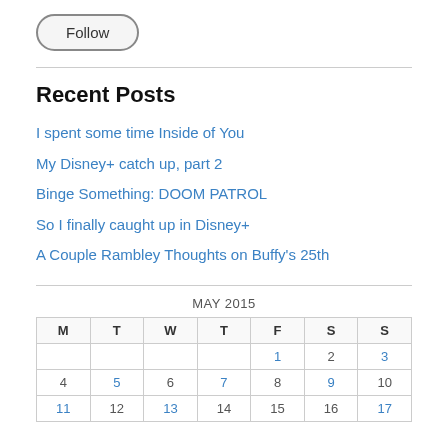[Figure (screenshot): Follow button — pill-shaped button with 'Follow' label]
Recent Posts
I spent some time Inside of You
My Disney+ catch up, part 2
Binge Something: DOOM PATROL
So I finally caught up in Disney+
A Couple Rambley Thoughts on Buffy's 25th
| M | T | W | T | F | S | S |
| --- | --- | --- | --- | --- | --- | --- |
|  |  |  |  | 1 | 2 | 3 |
| 4 | 5 | 6 | 7 | 8 | 9 | 10 |
| 11 | 12 | 13 | 14 | 15 | 16 | 17 |